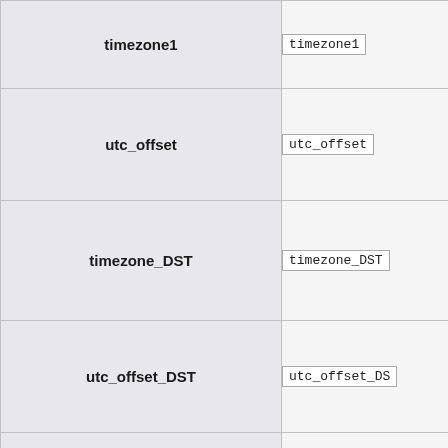| Field | Value |
| --- | --- |
| timezone1 | timezone1 |
| utc_offset | utc_offset |
| timezone_DST | timezone_DST |
| utc_offset_DST | utc_offset_DS |
| utc_offset1 | utc_offset1 |